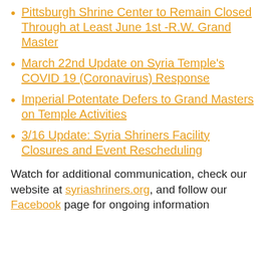Pittsburgh Shrine Center to Remain Closed Through at Least June 1st -R.W. Grand Master
March 22nd Update on Syria Temple's COVID 19 (Coronavirus) Response
Imperial Potentate Defers to Grand Masters on Temple Activities
3/16 Update: Syria Shriners Facility Closures and Event Rescheduling
Watch for additional communication, check our website at syriashriners.org, and follow our Facebook page for ongoing information